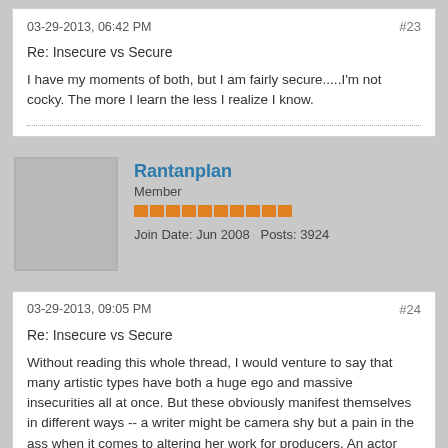03-29-2013, 06:42 PM
#23
Re: Insecure vs Secure
I have my moments of both, but I am fairly secure.....I'm not cocky. The more I learn the less I realize I know.
[Figure (photo): User avatar placeholder box (gray square)]
Rantanplan
Member
Join Date: Jun 2008   Posts: 3924
03-29-2013, 09:05 PM
#24
Re: Insecure vs Secure
Without reading this whole thread, I would venture to say that many artistic types have both a huge ego and massive insecurities all at once. But these obviously manifest themselves in different ways -- a writer might be camera shy but a pain in the ass when it comes to altering her work for producers. An actor might be spotlight hungry but eager to kiss ass on set and get as much attention as possible as the Person Everybody Loves (well, up until a certain level of fame, maybe). There are many famous, awarded artists who won't watch their own films / read the reviews of their books, etc. I once read that Letterman got nearly sick to his stomach